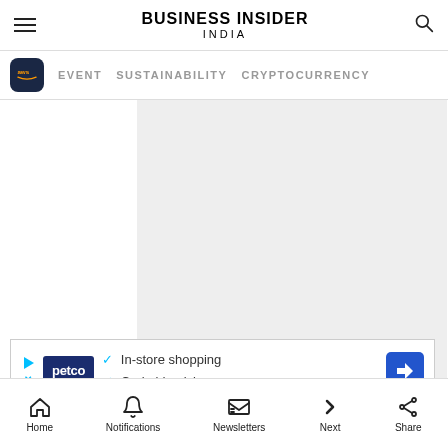BUSINESS INSIDER INDIA
EVENT  SUSTAINABILITY  CRYPTOCURRENCY
[Figure (other): Advertisement placeholder area — large light gray rectangle]
[Figure (other): Petco advertisement banner showing checkmarks for In-store shopping and Curbside pickup]
Home  Notifications  Newsletters  Next  Share